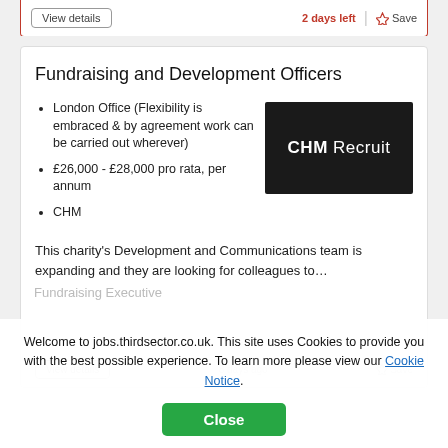View details | 2 days left | Save
Fundraising and Development Officers
London Office (Flexibility is embraced & by agreement work can be carried out wherever)
£26,000 - £28,000 pro rata, per annum
CHM
[Figure (logo): CHM Recruit company logo — white text on black background]
This charity's Development and Communications team is expanding and they are looking for colleagues to…
View details | 8 days ago | Save
Fundraising Executive
Welcome to jobs.thirdsector.co.uk. This site uses Cookies to provide you with the best possible experience. To learn more please view our Cookie Notice.
Close